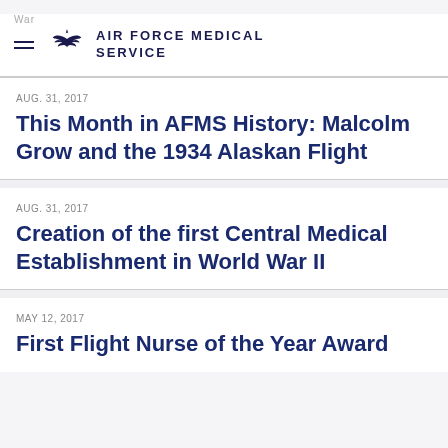AIR FORCE MEDICAL SERVICE
AUG. 31, 2017
This Month in AFMS History: Malcolm Grow and the 1934 Alaskan Flight
AUG. 31, 2017
Creation of the first Central Medical Establishment in World War II
MAY 12, 2017
First Flight Nurse of the Year Award